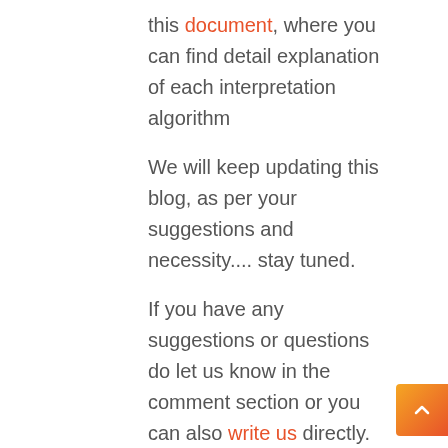this document, where you can find detail explanation of each interpretation algorithm
We will keep updating this blog, as per your suggestions and necessity.... stay tuned.
If you have any suggestions or questions do let us know in the comment section or you can also write us directly.
Till then you can have look at our ebooks.
If you enjoy the blogpost, then you can stay connected with us on below platforms:
YouTube
LinkedIn FICO Page
LinkedIn ABAP Page